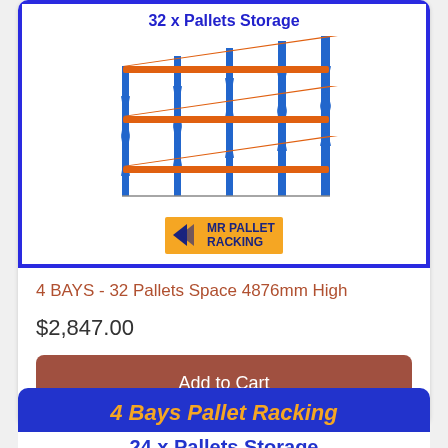[Figure (illustration): Product listing image showing pallet racking system with blue frame and orange beams. Text at top reads '32 x Pallets Storage'. Mr Pallet Racking logo at bottom of image.]
4 BAYS - 32 Pallets Space 4876mm High
$2,847.00
Add to Cart
[Figure (illustration): Second product card showing '4 Bays Pallet Racking' in orange italic text on blue background, with '24 x Pallets Storage' below on white background.]